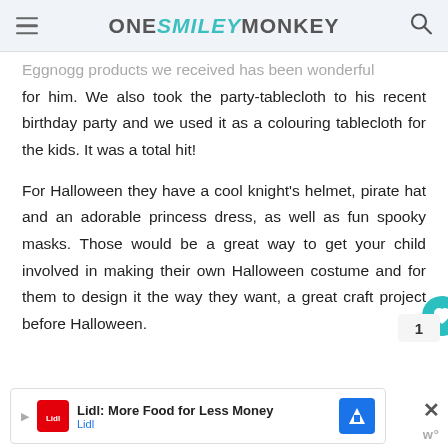ONE SMILEY MONKEY
Eggnogg products we received has been wonderful for him. We also took the party-tablecloth to his recent birthday party and we used it as a colouring tablecloth for the kids. It was a total hit!
For Halloween they have a cool knight's helmet, pirate hat and an adorable princess dress, as well as fun spooky masks. Those would be a great way to get your child involved in making their own Halloween costume and for them to design it the way they want, a great craft project before Halloween.
[Figure (other): Advertisement banner for Lidl: More Food for Less Money]